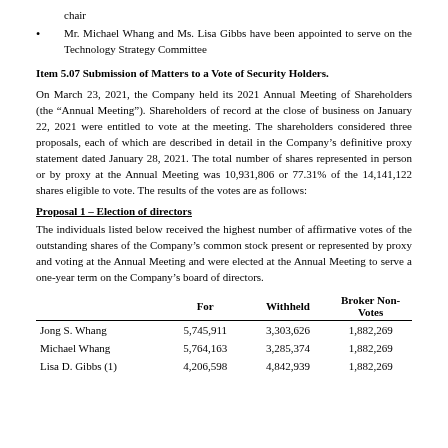chair
Mr. Michael Whang and Ms. Lisa Gibbs have been appointed to serve on the Technology Strategy Committee
Item 5.07 Submission of Matters to a Vote of Security Holders.
On March 23, 2021, the Company held its 2021 Annual Meeting of Shareholders (the “Annual Meeting”). Shareholders of record at the close of business on January 22, 2021 were entitled to vote at the meeting. The shareholders considered three proposals, each of which are described in detail in the Company’s definitive proxy statement dated January 28, 2021. The total number of shares represented in person or by proxy at the Annual Meeting was 10,931,806 or 77.31% of the 14,141,122 shares eligible to vote. The results of the votes are as follows:
Proposal 1 – Election of directors
The individuals listed below received the highest number of affirmative votes of the outstanding shares of the Company’s common stock present or represented by proxy and voting at the Annual Meeting and were elected at the Annual Meeting to serve a one-year term on the Company’s board of directors.
|  | For | Withheld | Broker Non-Votes |
| --- | --- | --- | --- |
| Jong S. Whang | 5,745,911 | 3,303,626 | 1,882,269 |
| Michael Whang | 5,764,163 | 3,285,374 | 1,882,269 |
| Lisa D. Gibbs (1) | 4,206,598 | 4,842,939 | 1,882,269 |